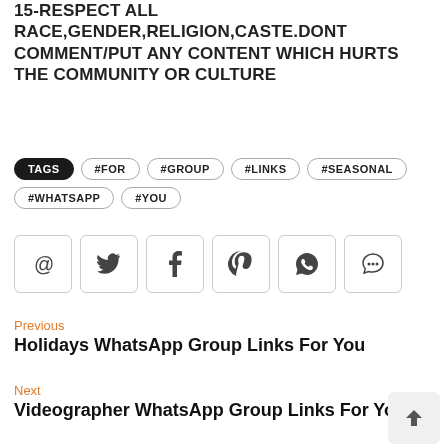15-RESPECT ALL RACE,GENDER,RELIGION,CASTE.DONT COMMENT/PUT ANY CONTENT WHICH HURTS THE COMMUNITY OR CULTURE
TAGS #FOR #GROUP #LINKS #SEASONAL #WHATSAPP #YOU
[Figure (infographic): Row of 6 social sharing icon buttons: @ (email), Twitter bird, Facebook f, Pinterest p, WhatsApp phone, and speech bubble (comment)]
Previous
Holidays WhatsApp Group Links For You
Next
Videographer WhatsApp Group Links For You